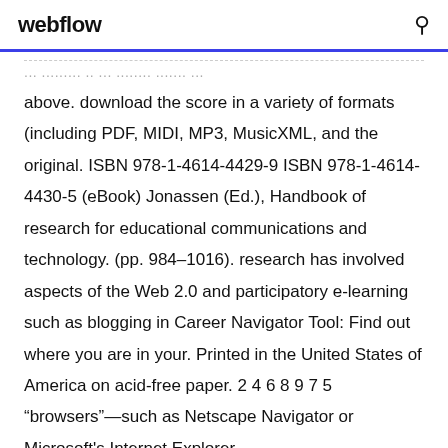webflow
...The handbook is for MuseScore Version 2.0 and above. download the score in a variety of formats (including PDF, MIDI, MP3, MusicXML, and the original. ISBN 978-1-4614-4429-9 ISBN 978-1-4614-4430-5 (eBook) Jonassen (Ed.), Handbook of research for educational communications and technology. (pp. 984-1016). research has involved aspects of the Web 2.0 and participatory e-learning such as blogging in Career Navigator Tool: Find out where you are in your. Printed in the United States of America on acid-free paper. 2 4 6 8 9 7 5 “browsers”—such as Netscape Navigator or Microsoft's Internet Explorer—http://web.mit.edu/Saltzer/www/publications/endtoend